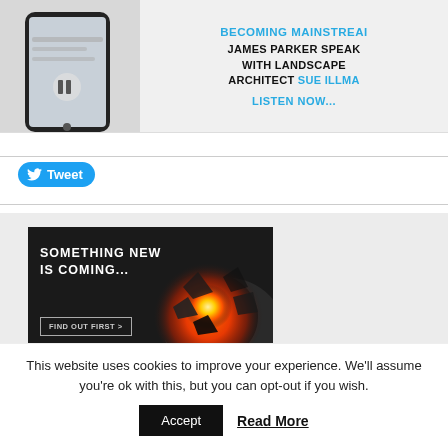[Figure (screenshot): Partial view of a podcast banner ad showing a smartphone and text: BECOMING MAINSTREAM, JAMES PARKER SPEAK WITH LANDSCAPE ARCHITECT SUE ILLMA, LISTEN NOW...]
[Figure (screenshot): Twitter Tweet button with bird icon]
[Figure (advertisement): Rockwool advertisement showing lava image with text: SOMETHING NEW IS COMING..., FIND OUT FIRST > button, and Rockwool logo]
This website uses cookies to improve your experience. We'll assume you're ok with this, but you can opt-out if you wish.
Accept
Read More